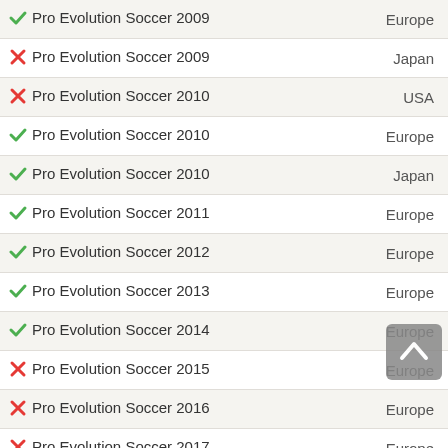| Name | Region |
| --- | --- |
| ✔ Pro Evolution Soccer 2009 | Europe |
| ✘ Pro Evolution Soccer 2009 | Japan |
| ✘ Pro Evolution Soccer 2010 | USA |
| ✔ Pro Evolution Soccer 2010 | Europe |
| ✔ Pro Evolution Soccer 2010 | Japan |
| ✔ Pro Evolution Soccer 2011 | Europe |
| ✔ Pro Evolution Soccer 2012 | Europe |
| ✔ Pro Evolution Soccer 2013 | Europe |
| ✔ Pro Evolution Soccer 2014 | Europe |
| ✘ Pro Evolution Soccer 2015 | Europe |
| ✘ Pro Evolution Soccer 2016 | Europe |
| ✘ Pro Evolution Soccer 2017 | Europe |
| ✔ Project Gotham Racing 3 | Europe |
| ✘ Project Gotham Racing 4 | Europe |
| ✘ Project Sylpheed: Arc of Deception | Europe |